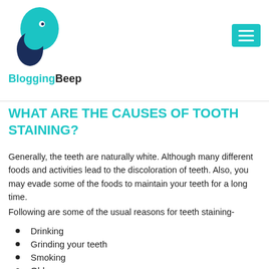[Figure (logo): BloggingBeep logo: teal and dark navy megaphone/bird icon above the text BloggingBeep]
WHAT ARE THE CAUSES OF TOOTH STAINING?
Generally, the teeth are naturally white. Although many different foods and activities lead to the discoloration of teeth. Also, you may evade some of the foods to maintain your teeth for a long time.
Following are some of the usual reasons for teeth staining-
Drinking
Grinding your teeth
Smoking
Old age